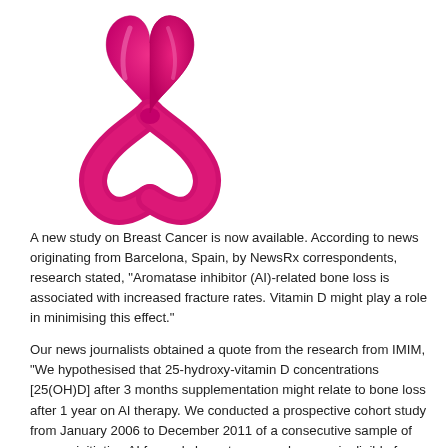[Figure (illustration): Pink breast cancer awareness ribbon illustration]
A new study on Breast Cancer is now available. According to news originating from Barcelona, Spain, by NewsRx correspondents, research stated, "Aromatase inhibitor (AI)-related bone loss is associated with increased fracture rates. Vitamin D might play a role in minimising this effect."
Our news journalists obtained a quote from the research from IMIM, "We hypothesised that 25-hydroxy-vitamin D concentrations [25(OH)D] after 3 months supplementation might relate to bone loss after 1 year on AI therapy. We conducted a prospective cohort study from January 2006 to December 2011 of a consecutive sample of women initiating AI for early breast cancer who were ineligible for bisphosphonate therapy and stayed on treatment for 1 year (N#2). Serum 25(OH)D was measured at baseline and 3